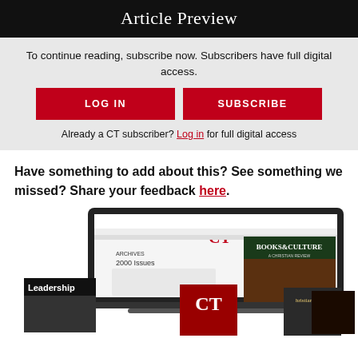Article Preview
To continue reading, subscribe now. Subscribers have full digital access.
LOG IN | SUBSCRIBE
Already a CT subscriber? Log in for full digital access
Have something to add about this? See something we missed? Share your feedback here.
[Figure (illustration): Collage of magazine covers including Leadership, CT, Christian History, Books & Culture, and a digital archive browser interface.]